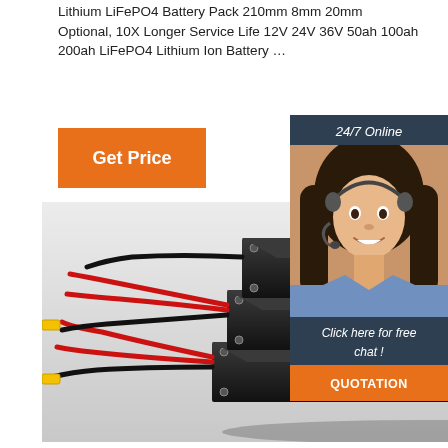Lithium LiFePO4 Battery Pack 210mm 8mm 20mm Optional, 10X Longer Service Life 12V 24V 36V 50ah 100ah 200ah LiFePO4 Lithium Ion Battery …
[Figure (other): Orange 'Get Price' button on left]
[Figure (photo): Customer service agent woman with headset, '24/7 Online' label above, 'Click here for free chat!' and orange 'QUOTATION' button below, dark navy panel background]
[Figure (photo): Photograph of black LiFePO4 battery pack with three stacked rectangular units connected by red and black wires, set against grey background]